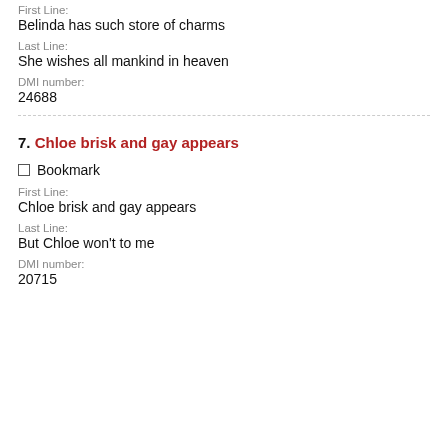First Line:
Belinda has such store of charms
Last Line:
She wishes all mankind in heaven
DMI number:
24688
7. Chloe brisk and gay appears
Bookmark
First Line:
Chloe brisk and gay appears
Last Line:
But Chloe won't to me
DMI number:
20715